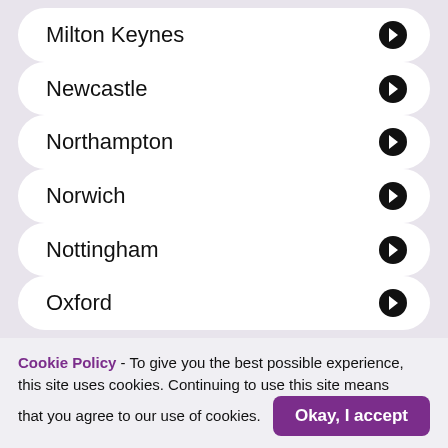Milton Keynes
Newcastle
Northampton
Norwich
Nottingham
Oxford
Cookie Policy - To give you the best possible experience, this site uses cookies. Continuing to use this site means that you agree to our use of cookies. Okay, I accept